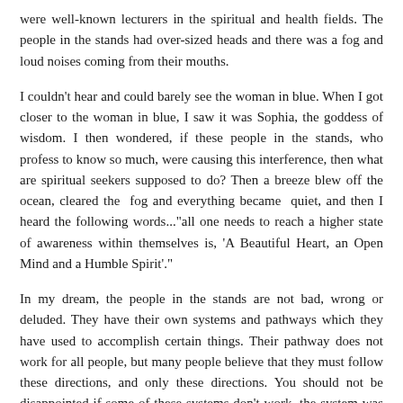were well-known lecturers in the spiritual and health fields. The people in the stands had over-sized heads and there was a fog and loud noises coming from their mouths.
I couldn't hear and could barely see the woman in blue. When I got closer to the woman in blue, I saw it was Sophia, the goddess of wisdom. I then wondered, if these people in the stands, who profess to know so much, were causing this interference, then what are spiritual seekers supposed to do? Then a breeze blew off the ocean, cleared the fog and everything became quiet, and then I heard the following words..."all one needs to reach a higher state of awareness within themselves is, 'A Beautiful Heart, an Open Mind and a Humble Spirit'."
In my dream, the people in the stands are not bad, wrong or deluded. They have their own systems and pathways which they have used to accomplish certain things. Their pathway does not work for all people, but many people believe that they must follow these directions, and only these directions. You should not be disappointed if some of these systems don't work, the system was not right for you.
You must realize that the majority of the individuals that have written